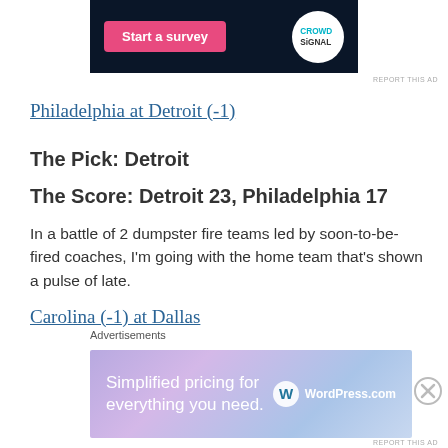[Figure (screenshot): Top advertisement banner with dark navy background, pink 'Start a survey' button on left and CrowdSignal circular logo on right]
REPORT THIS AD
Philadelphia at Detroit (-1)
The Pick: Detroit
The Score: Detroit 23, Philadelphia 17
In a battle of 2 dumpster fire teams led by soon-to-be-fired coaches, I'm going with the home team that's shown a pulse of late.
Carolina (-1) at Dallas
Advertisements
[Figure (screenshot): WordPress.com advertisement banner with purple-blue gradient background, text 'Simplified pricing for everything you need.' with WordPress.com logo]